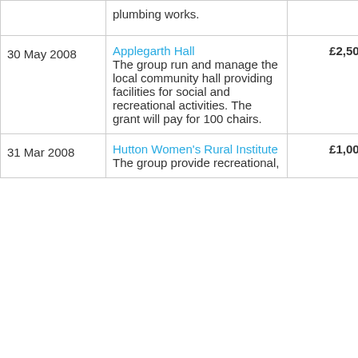| Date | Organisation / Description | Amount | Funder |
| --- | --- | --- | --- |
|  | plumbing works. |  |  |
| 30 May 2008 | Applegarth Hall
The group run and manage the local community hall providing facilities for social and recreational activities. The grant will pay for 100 chairs. | £2,500 | Big Lotte... |
| 31 Mar 2008 | Hutton Women's Rural Institute
The group provide recreational, | £1,000 | Big Lotte... |